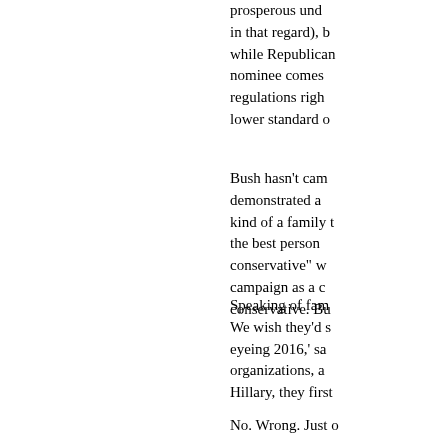prosperous und in that regard), b while Republican nominee comes regulations righ lower standard o
Bush hasn't cam demonstrated a kind of a family t the best person conservative" w campaign as a c conservative. Bu
Speaking of fam We wish they'd s eyeing 2016,' sa organizations, a Hillary, they first
No. Wrong. Just o